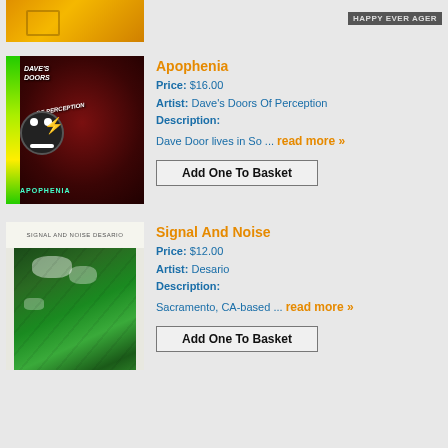[Figure (photo): Partial view of album art at top of page, orange/yellow colored]
[Figure (photo): Album art for Apophenia by Dave's Doors Of Perception - dark red psychedelic design with skull and swirling text]
Apophenia
Price: $16.00
Artist: Dave's Doors Of Perception
Description:
Dave Door lives in So ... read more »
Add One To Basket
[Figure (photo): Album art for Signal And Noise by Desario - white cover with aerial green landscape photo]
Signal And Noise
Price: $12.00
Artist: Desario
Description:
Sacramento, CA-based ... read more »
Add One To Basket